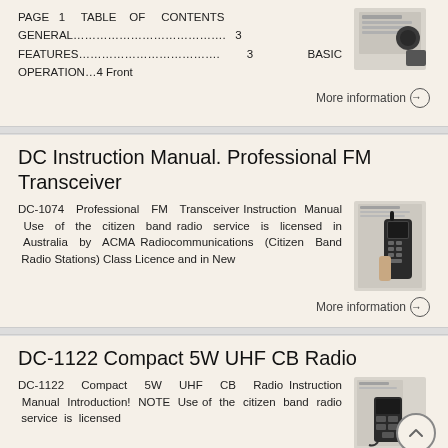PAGE 1 TABLE OF CONTENTS
GENERAL.................................. 3
FEATURES................................ 3 BASIC OPERATION...4 Front
More information →
DC Instruction Manual. Professional FM Transceiver
DC-1074 Professional FM Transceiver Instruction Manual Use of the citizen band radio service is licensed in Australia by ACMA Radiocommunications (Citizen Band Radio Stations) Class Licence and in New
More information →
DC-1122 Compact 5W UHF CB Radio
DC-1122 Compact 5W UHF CB Radio Instruction Manual Introduction! NOTE Use of the citizen band radio service is licensed